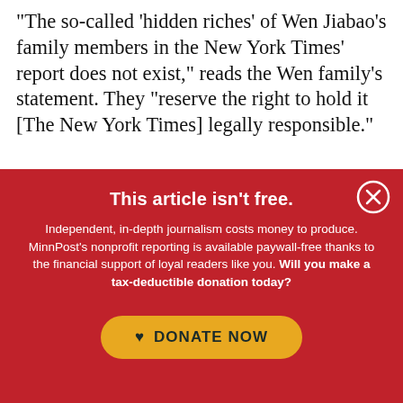“The so-called ‘hidden riches’ of Wen Jiabao’s family members in the New York Times’ report does not exist,” reads the Wen family’s statement. They “reserve the right to hold it [The New York Times] legally responsible.”
This article isn't free.
Independent, in-depth journalism costs money to produce. MinnPost’s nonprofit reporting is available paywall-free thanks to the financial support of loyal readers like you. Will you make a tax-deductible donation today?
♥ DONATE NOW